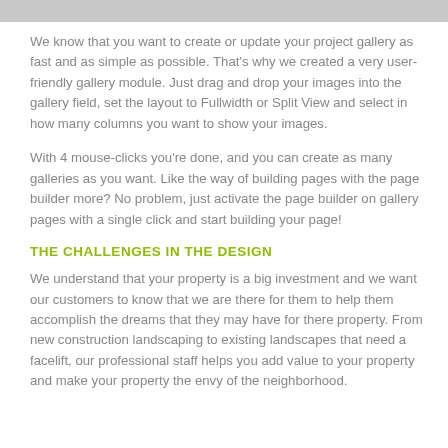We know that you want to create or update your project gallery as fast and as simple as possible. That's why we created a very user-friendly gallery module. Just drag and drop your images into the gallery field, set the layout to Fullwidth or Split View and select in how many columns you want to show your images.
With 4 mouse-clicks you're done, and you can create as many galleries as you want. Like the way of building pages with the page builder more? No problem, just activate the page builder on gallery pages with a single click and start building your page!
THE CHALLENGES IN THE DESIGN
We understand that your property is a big investment and we want our customers to know that we are there for them to help them accomplish the dreams that they may have for there property. From new construction landscaping to existing landscapes that need a facelift, our professional staff helps you add value to your property and make your property the envy of the neighborhood.